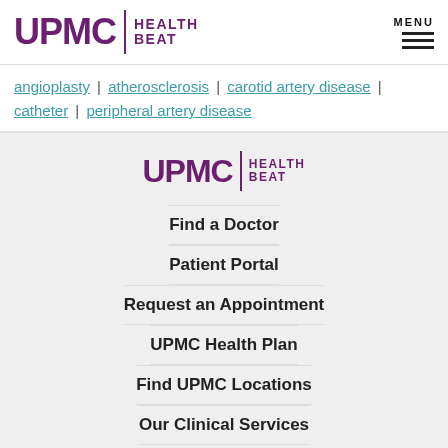UPMC | HEALTH BEAT
angioplasty | atherosclerosis | carotid artery disease | catheter | peripheral artery disease
[Figure (logo): UPMC Health Beat logo centered in footer section]
Find a Doctor
Patient Portal
Request an Appointment
UPMC Health Plan
Find UPMC Locations
Our Clinical Services